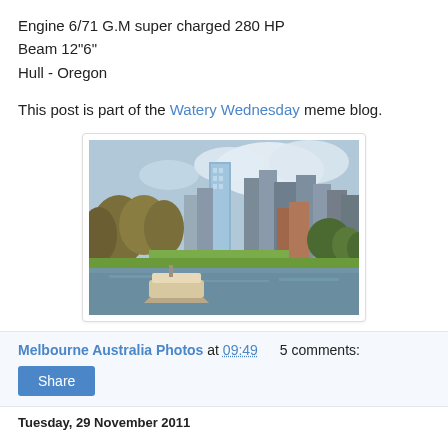Engine 6/71 G.M super charged 280 HP
Beam 12"6"
Hull - Oregon
This post is part of the Watery Wednesday meme blog.
[Figure (photo): A river scene with a boat in the foreground and a city skyline with tall buildings and trees in the background under a partly cloudy sky.]
Melbourne Australia Photos at 09:49    5 comments:
Share
Tuesday, 29 November 2011